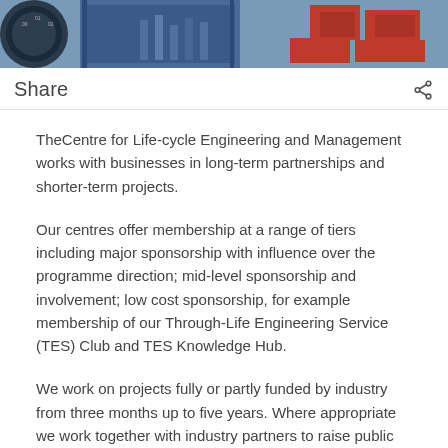[Figure (photo): Photo strip showing engineering equipment including gauges and red tool boxes/components on a workbench]
Share
TheCentre for Life-cycle Engineering and Management works with businesses in long-term partnerships and shorter-term projects.
Our centres offer membership at a range of tiers including major sponsorship with influence over the programme direction; mid-level sponsorship and involvement; low cost sponsorship, for example membership of our Through-Life Engineering Service (TES) Club and TES Knowledge Hub.
We work on projects fully or partly funded by industry from three months up to five years. Where appropriate we work together with industry partners to raise public funding in